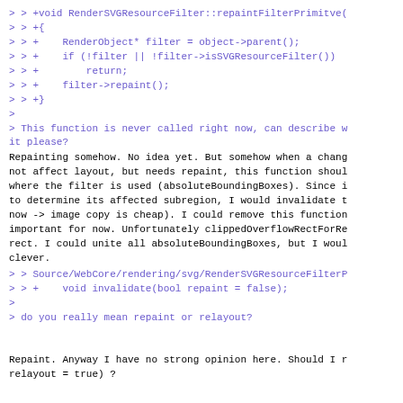> > +void RenderSVGResourceFilter::repaintFilterPrimitve(
> > +{
> > +    RenderObject* filter = object->parent();
> > +    if (!filter || !filter->isSVGResourceFilter())
> > +        return;
> > +    filter->repaint();
> > +}
>
> This function is never called right now, can describe w
it please?
Repainting somehow. No idea yet. But somehow when a chang
not affect layout, but needs repaint, this function shoul
where the filter is used (absoluteBoundingBoxes). Since i
to determine its affected subregion, I would invalidate t
now -> image copy is cheap). I could remove this function
important for now. Unfortunately clippedOverflowRectForRe
rect. I could unite all absoluteBoundingBoxes, but I woul
clever.
> > Source/WebCore/rendering/svg/RenderSVGResourceFilterP
> > +    void invalidate(bool repaint = false);
>
> do you really mean repaint or relayout?
Repaint. Anyway I have no strong opinion here. Should I r
relayout = true) ?